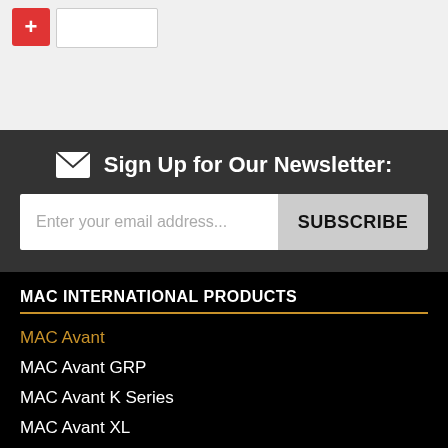[Figure (screenshot): UI element showing a red plus button and a white input box on a light grey background]
Sign Up for Our Newsletter:
Enter your email address...
SUBSCRIBE
MAC INTERNATIONAL PRODUCTS
MAC Avant
MAC Avant GRP
MAC Avant K Series
MAC Avant XL
MAC Avant Accessories
All MAC Avant Products